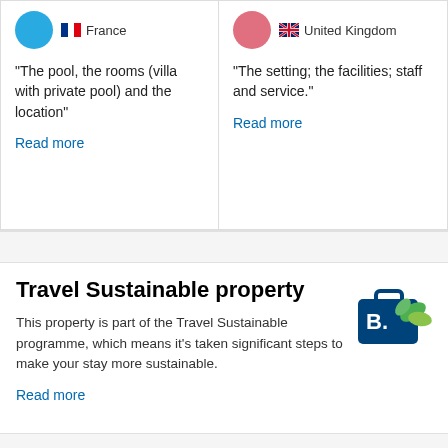France
“The pool, the rooms (villa with private pool) and the location”
Read more
United Kingdom
“The setting; the facilities; staff and service.”
Read more
Travel Sustainable property
This property is part of the Travel Sustainable programme, which means it’s taken significant steps to make your stay more sustainable.
Read more
[Figure (logo): Booking.com Travel Sustainable badge with green leaves]